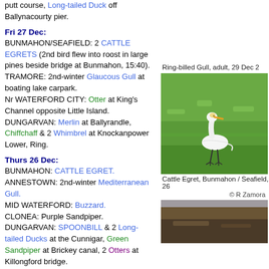putt course, Long-tailed Duck off Ballynacourty pier.
Fri 27 Dec:
BUNMAHON/SEAFIELD: 2 CATTLE EGRETS (2nd bird flew into roost in large pines beside bridge at Bunmahon, 15:40).
TRAMORE: 2nd-winter Glaucous Gull at boating lake carpark.
Nr WATERFORD CITY: Otter at King's Channel opposite Little Island.
DUNGARVAN: Merlin at Ballyrandle, Chiffchaff & 2 Whimbrel at Knockanpower Lower, Ring.
Thurs 26 Dec:
BUNMAHON: CATTLE EGRET.
ANNESTOWN: 2nd-winter Mediterranean Gull.
MID WATERFORD: Buzzard.
CLONEA: Purple Sandpiper.
DUNGARVAN: SPOONBILL & 2 Long-tailed Ducks at the Cunnigar, Green Sandpiper at Brickey canal, 2 Otters at Killongford bridge.
Weds 25 Dec:
Ring-billed Gull, adult, 29 Dec 2
[Figure (photo): Cattle Egret standing on green grass at Bunmahon/Seafield]
Cattle Egret, Bunmahon / Seafield, 26
© R Zamora
[Figure (photo): Partial photo at bottom of right column]